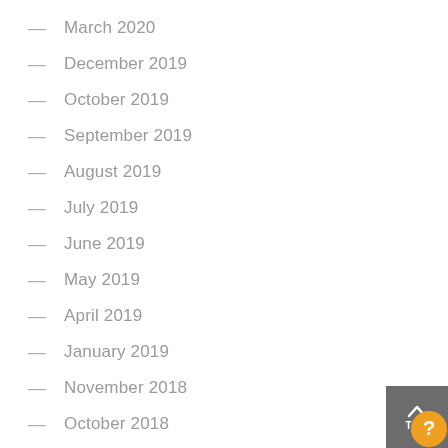March 2020
December 2019
October 2019
September 2019
August 2019
July 2019
June 2019
May 2019
April 2019
January 2019
November 2018
October 2018